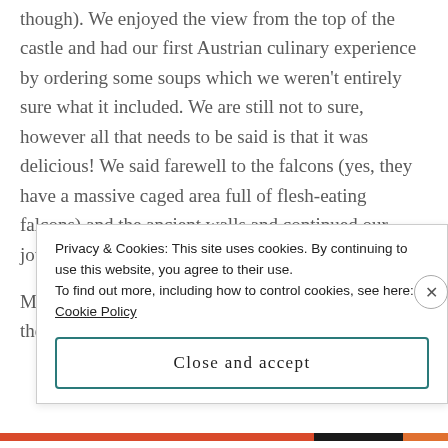though). We enjoyed the view from the top of the castle and had our first Austrian culinary experience by ordering some soups which we weren't entirely sure what it included. We are still not to sure, however all that needs to be said is that it was delicious! We said farewell to the falcons (yes, they have a massive caged area full of flesh-eating falcons) and the ancient walls and continued our journey to Oberdrauburg.
Many more highlights were had in our time around the Big O including a delicious dinner in Lienz
Privacy & Cookies: This site uses cookies. By continuing to use this website, you agree to their use.
To find out more, including how to control cookies, see here: Cookie Policy
Close and accept